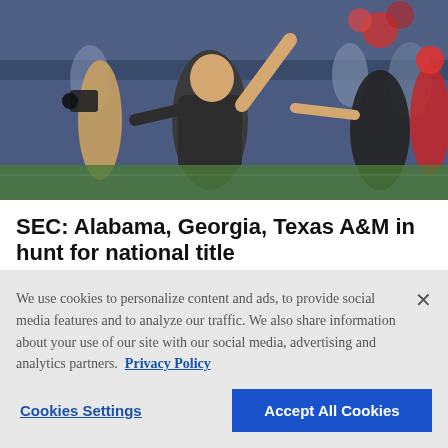[Figure (photo): A man in a dark polo shirt celebrating on a sports field, arms raised, surrounded by fans, cheerleaders, and media personnel at a stadium event.]
SEC: Alabama, Georgia, Texas A&M in hunt for national title
By John Zenor 10 hrs ago
We use cookies to personalize content and ads, to provide social media features and to analyze our traffic. We also share information about your use of our site with our social media, advertising and analytics partners. Privacy Policy
Cookies Settings | Accept All Cookies